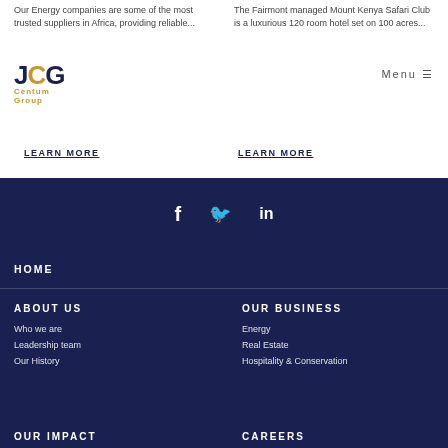Our Energy companies are some of the most trusted suppliers in Africa, providing reliable...
The Fairmont managed Mount Kenya Safari Club is a luxurious 120 room hotel set on 100 acres...
LEARN MORE
LEARN MORE
[Figure (illustration): Social media icons: Facebook (f), Twitter (bird), LinkedIn (in) on dark navy background]
HOME
ABOUT US
OUR BUSINESS
Who we are
Leadership team
Our History
Energy
Real Estate
Hospitality & Conservation
OUR IMPACT
CAREERS